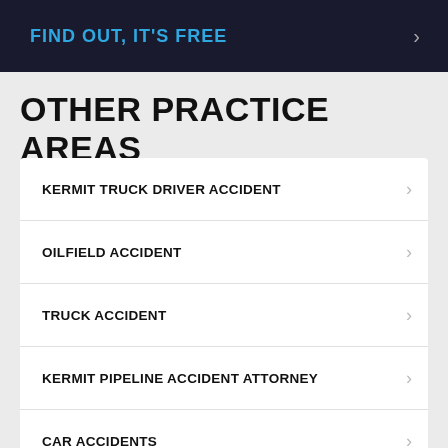FIND OUT, IT'S FREE
OTHER PRACTICE AREAS
KERMIT TRUCK DRIVER ACCIDENT
OILFIELD ACCIDENT
TRUCK ACCIDENT
KERMIT PIPELINE ACCIDENT ATTORNEY
CAR ACCIDENTS